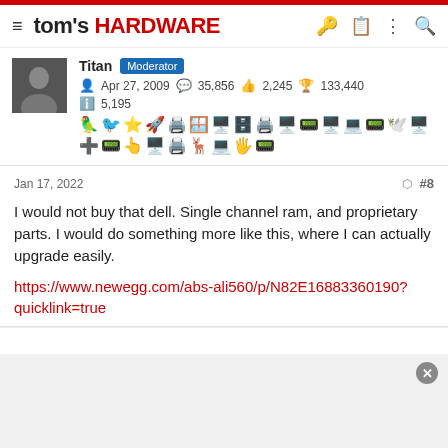tom's HARDWARE
Titan  Moderator
Apr 27, 2009  35,856  2,245  133,440
5,195
Jan 17, 2022  #8
I would not buy that dell. Single channel ram, and proprietary parts. I would do something more like this, where I can actually upgrade easily.
https://www.newegg.com/abs-ali560/p/N82E16883360190?quicklink=true